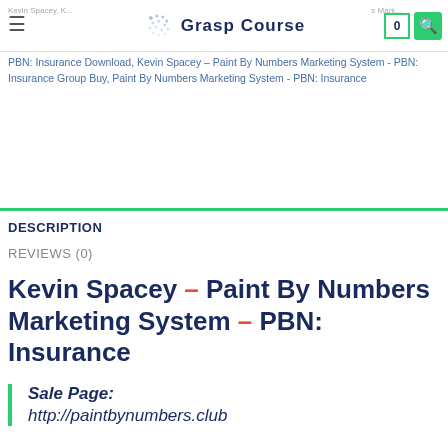Grasp Course
PBN: Insurance Download, Kevin Spacey – Paint By Numbers Marketing System - PBN: Insurance Group Buy, Paint By Numbers Marketing System - PBN: Insurance
DESCRIPTION
REVIEWS (0)
Kevin Spacey – Paint By Numbers Marketing System – PBN: Insurance
Sale Page:
http://paintbynumbers.club